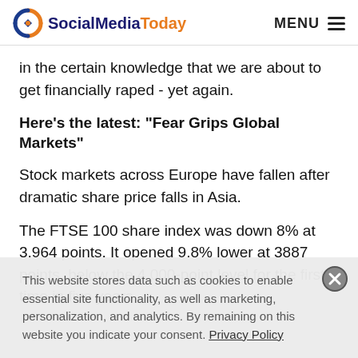SocialMediaToday — MENU
in the certain knowledge that we are about to get financially raped - yet again.
Here's the latest: “Fear Grips Global Markets”
Stock markets across Europe have fallen after dramatic share price falls in Asia.
The FTSE 100 share index was down 8% at 3,964 points. It opened 9.8% lower at 3887 points, below the 4,000-point level for the first time in five years
This website stores data such as cookies to enable essential site functionality, as well as marketing, personalization, and analytics. By remaining on this website you indicate your consent. Privacy Policy